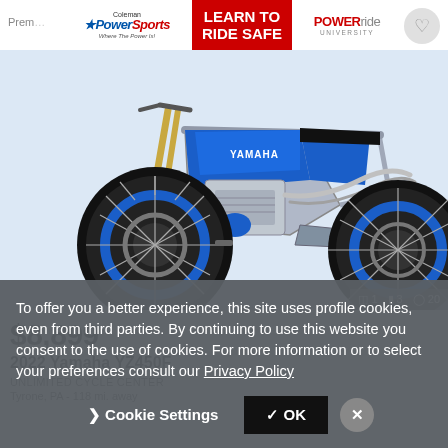[Figure (photo): Advertisement banner for Coleman PowerSports featuring 'Learn To Ride Safe' in red and PowerRide University logo]
[Figure (photo): 2022 Yamaha YZ450F motocross dirt bike in blue and white on a light background, showing both wheels and engine detail]
$8,899
2022 Yamaha YZ450F
UNLIMITED CYCLE CENTER
Tyrone, PA - 118 mi. away
To offer you a better experience, this site uses profile cookies, even from third parties. By continuing to use this website you consent to the use of cookies. For more information or to select your preferences consult our Privacy Policy